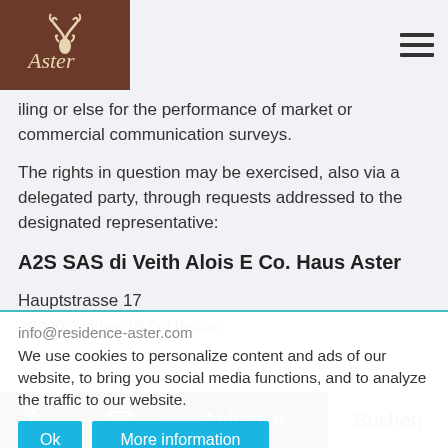Haus Aster
iling or else for the performance of market or commercial communication surveys.
The rights in question may be exercised, also via a delegated party, through requests addressed to the designated representative:
A2S SAS di Veith Alois E Co. Haus Aster
Hauptstrasse 17
39029 Sulden (BZ) / Italien
info@residence-aster.com
We use cookies to personalize content and ads of our website, to bring you social media functions, and to analyze the traffic to our website.
Ok  More information
suant to the EU-Regulation N. 5240/2015 on the European Parliament
Anfragen  Buchen